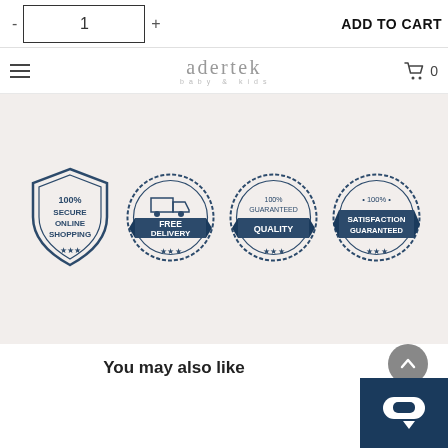- 1 + ADD TO CART
adertek baby & kids  🛒 0
[Figure (infographic): Four trust badge icons: 100% Secure Online Shopping (shield), Free Delivery (circular stamp with truck), 100% Guaranteed Quality (circular stamp), 100% Satisfaction Guaranteed (circular stamp). Dark navy blue badges on light beige background.]
You may also like